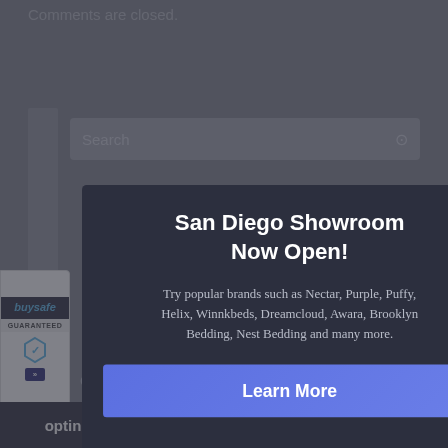Comments are closed.
Search
San Diego Showroom Now Open!
Try popular brands such as Nectar, Purple, Puffy, Helix, Winnkbeds, Dreamcloud, Awara, Brooklyn Bedding, Nest Bedding and many more.
Learn More
Quickpicks
Eight Sleep Pod 3 Mattress Review 2022
[Figure (logo): BuySafe Guaranteed badge logo in blue and white]
[Figure (logo): OptinMonster logo bar at bottom left]